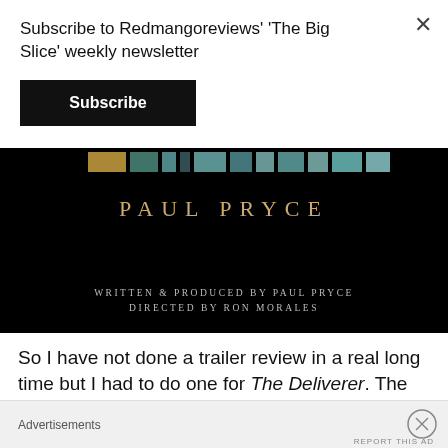Subscribe to Redmangoreviews' 'The Big Slice' weekly newsletter
Subscribe
[Figure (photo): Movie still/title card on black background. Shows colorful blocks strip at top, 'PAUL PRYCE' in gold spaced letters, and credits reading 'WRITTEN & PRODUCED BY PAUL PRYCE / DIRECTED BY RON MORALES']
So I have not done a trailer review in a real long time but I had to do one for The Deliverer. The crime
Advertisements